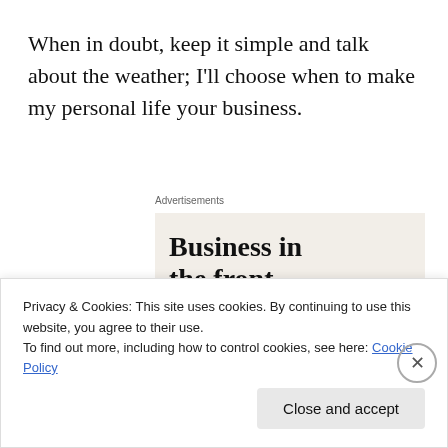When in doubt, keep it simple and talk about the weather; I'll choose when to make my personal life your business.
Advertisements
[Figure (illustration): WordPress advertisement: top half shows 'Business in the front...' on a light beige background; bottom half shows 'WordPress in the back.' on an orange/pink gradient background with decorative circles.]
Privacy & Cookies: This site uses cookies. By continuing to use this website, you agree to their use.
To find out more, including how to control cookies, see here: Cookie Policy